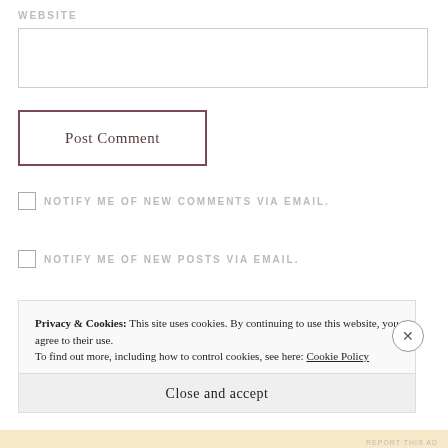WEBSITE
Post Comment
NOTIFY ME OF NEW COMMENTS VIA EMAIL.
NOTIFY ME OF NEW POSTS VIA EMAIL.
Privacy & Cookies: This site uses cookies. By continuing to use this website, you agree to their use. To find out more, including how to control cookies, see here: Cookie Policy
Close and accept